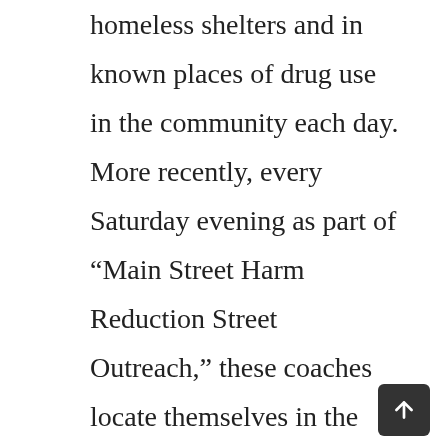homeless shelters and in known places of drug use in the community each day. More recently, every Saturday evening as part of “Main Street Harm Reduction Street Outreach,” these coaches locate themselves in the City of Poughkeepsie to engage individuals at high risk for overdose. During these interactions, coaches build relationships with high-risk individuals and engage with them in a supportive way, sharing harm-reduction strategies, such as Fentanyl testing and Narcan distribution, to keep these individuals safe. They can also connect these